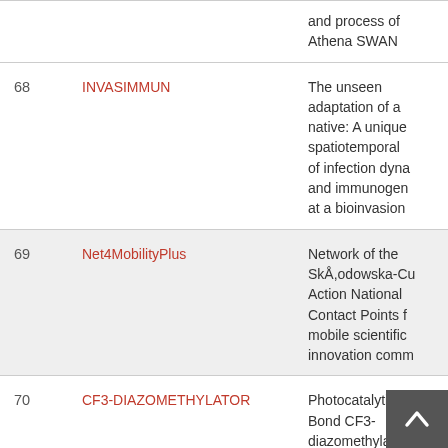| # | Project | Description |
| --- | --- | --- |
|  |  | and process of Athena SWAN |
| 68 | INVASIMMUN | The unseen adaptation of a native: A unique spatiotemporal of infection dyna and immunogen at a bioinvasion |
| 69 | Net4MobilityPlus | Network of the SkÅ,odowska-Cu Action National Contact Points f mobile scientific innovation comm |
| 70 | CF3-DIAZOMETHYLATOR | Photocatalytic C Bond CF3-diazomethylatio |